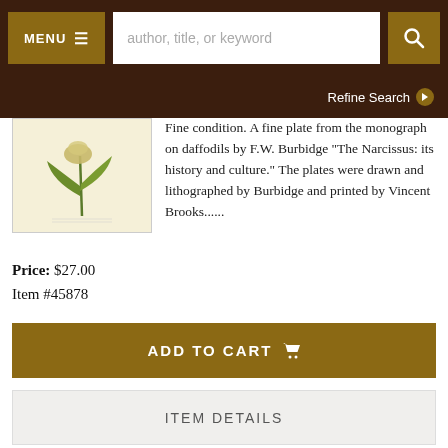MENU  [search: author, title, or keyword]  [search icon]
Refine Search ❯
[Figure (illustration): Botanical illustration of a narcissus/daffodil plant on cream background]
Fine condition. A fine plate from the monograph on daffodils by F.W. Burbidge "The Narcissus: its history and culture." The plates were drawn and lithographed by Burbidge and printed by Vincent Brooks......
Price: $27.00
Item #45878
ADD TO CART 🛒
ITEM DETAILS
ADD TO WISH LIST